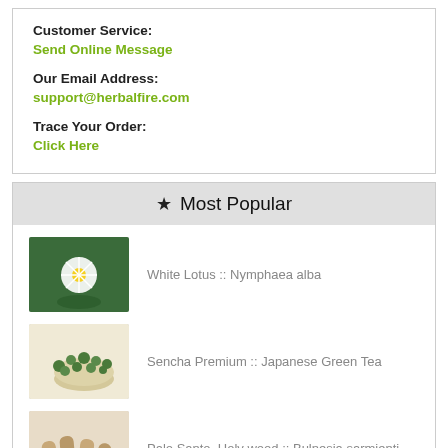Customer Service:
Send Online Message
Our Email Address:
support@herbalfire.com
Trace Your Order:
Click Here
★ Most Popular
White Lotus :: Nymphaea alba
Sencha Premium :: Japanese Green Tea
Palo Santo, Holy wood :: Bulnesia sarmienti
Maca Roots :: Lepidium Meyenii